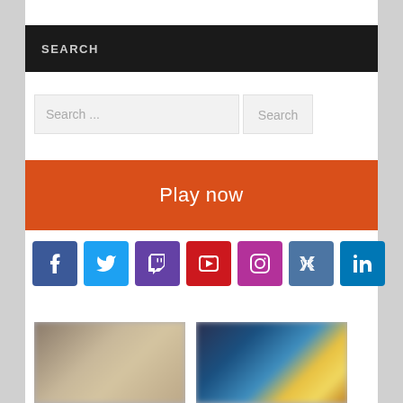SEARCH
Search ...
Search
Play now
[Figure (infographic): Row of 7 social media icon buttons: Facebook (dark blue), Twitter (light blue), Twitch (purple), YouTube (red), Instagram (pink/magenta), VK (steel blue), LinkedIn (dark blue)]
[Figure (photo): Two blurred photos side by side at the bottom of the page]